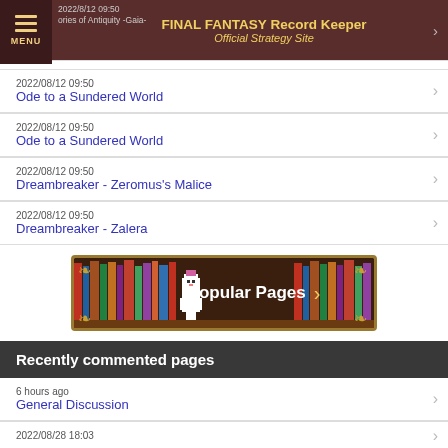FINAL FANTASY Record Keeper Official Strategy Site
2022/08/12 09:50
Ode to a Sundered World
2022/08/12 09:50
Ode to a Sundered World
2022/08/12 09:50
Dreambreaker - Zeromus's Malice
2022/08/12 09:50
Dreambreaker - Zalera
[Figure (illustration): Popular Pages banner with bookshelf background, mascot character, and arrow]
Recently commented pages
6 hours ago
General Discussion
2022/08/28 18:03
(partial)